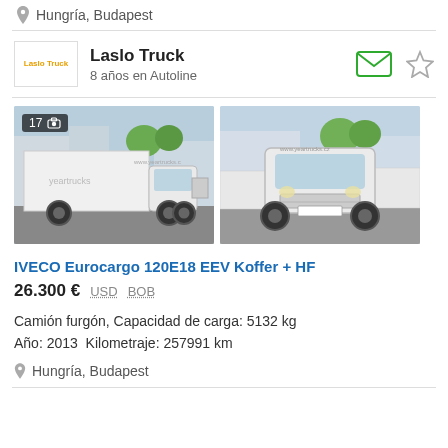Hungría, Budapest
Laslo Truck
8 años en Autoline
[Figure (photo): Two white IVECO Eurocargo trucks photographed in a parking area. Left photo shows side view with box body, right photo shows front view of the same model.]
IVECO Eurocargo 120E18 EEV Koffer + HF
26.300 €  USD  BOB
Camión furgón, Capacidad de carga: 5132 kg
Año: 2013  Kilometraje: 257991 km
Hungría, Budapest